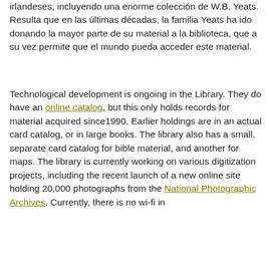irlandeses, incluyendo una enorme colección de W.B. Yeats. Resulta que en las últimas décadas, la familia Yeats ha ido donando la mayor parte de su material a la biblioteca, que a su vez permite que el mundo pueda acceder este material.
Technological development is ongoing in the Library. They do have an online catalog, but this only holds records for material acquired since1990. Earlier holdings are in an actual card catalog, or in large books. The library also has a small, separate card catalog for bible material, and another for maps. The library is currently working on various digitization projects, including the recent launch of a new online site holding 20,000 photographs from the National Photographic Archives. Currently, there is no wi-fi in